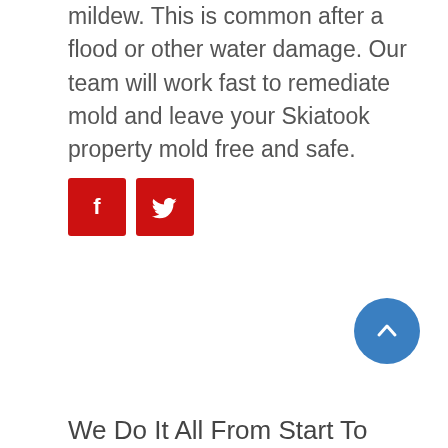mildew. This is common after a flood or other water damage. Our team will work fast to remediate mold and leave your Skiatook property mold free and safe.
[Figure (other): Two red square social media icon buttons: Facebook (f) and Twitter (bird icon)]
[Figure (other): Blue circular back-to-top button with upward chevron arrow]
We Do It All From Start To